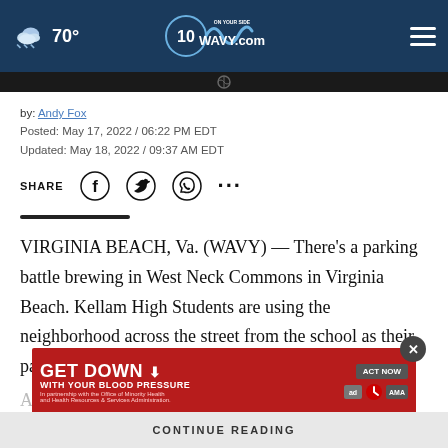70° WAVY.com ON YOUR SIDE
by: Andy Fox
Posted: May 17, 2022 / 06:22 PM EDT
Updated: May 18, 2022 / 09:37 AM EDT
SHARE
VIRGINIA BEACH, Va. (WAVY) — There's a parking battle brewing in West Neck Commons in Virginia Beach. Kellam High Students are using the neighborhood across the street from the school as their parking lot.
All the students...streets,
[Figure (screenshot): Advertisement: GET DOWN WITH YOUR BLOOD PRESSURE - ACT NOW, in partnership with Office of Minority Health and Health Resources & Services Administration. Red banner ad with logos.]
CONTINUE READING